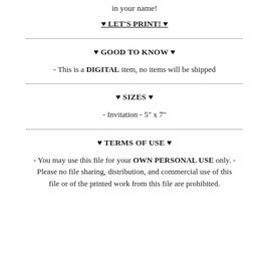in your name!
♥ LET'S PRINT! ♥
♥ GOOD TO KNOW ♥
- This is a DIGITAL item, no items will be shipped
♥ SIZES ♥
- Invitation - 5" x 7"
♥ TERMS OF USE ♥
- You may use this file for your OWN PERSONAL USE only. - Please no file sharing, distribution, and commercial use of this file or of the printed work from this file are prohibited.